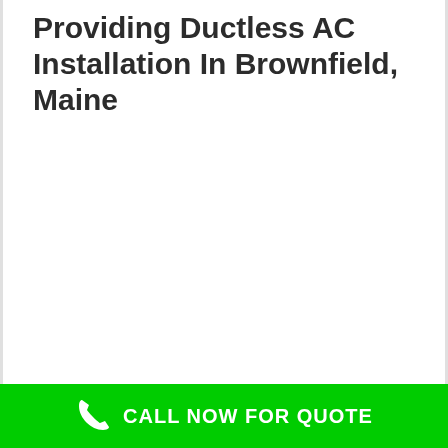Providing Ductless AC Installation In Brownfield, Maine
CALL NOW FOR QUOTE